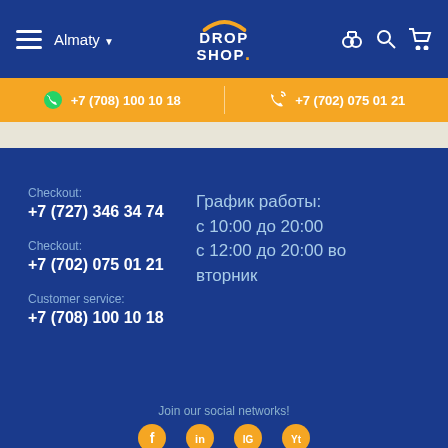DROP SHOP — Almaty navigation bar with hamburger menu, city selector, logo, and icons for compare, search, cart
+7 (708) 100 10 18   +7 (702) 075 01 21
Checkout:
+7 (727) 346 34 74
Checkout:
+7 (702) 075 01 21
Customer service:
+7 (708) 100 10 18
График работы:
с 10:00 до 20:00
с 12:00 до 20:00 во вторник
Join our social networks!